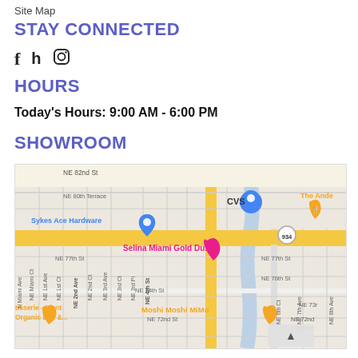Site Map
STAY CONNECTED
[Figure (other): Social media icons: Facebook, Houzz, Instagram]
HOURS
Today's Hours: 9:00 AM - 6:00 PM
SHOWROOM
[Figure (map): Google Maps screenshot showing area around NE 72nd St to NE 82nd St in Miami, featuring landmarks: Sykes Ace Hardware, CVS, The Ande, Selina Miami Gold Dust, Moshi Moshi MiMo, street labels for NE 2nd Ave, NE 4th St, NE 76th St, NE 74th St, NE 72nd St, NE 77th St, NE 73rd, NE 72nd Terrace, route 934.]